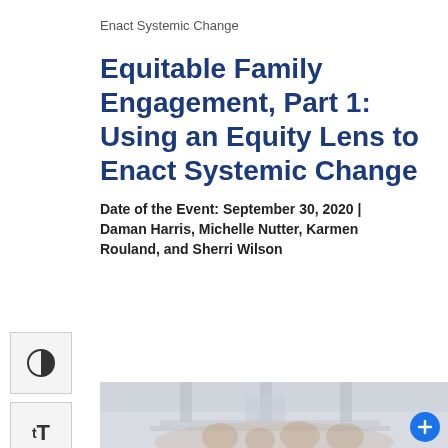Enact Systemic Change
Equitable Family Engagement, Part 1: Using an Equity Lens to Enact Systemic Change
Date of the Event: September 30, 2020 | Daman Harris, Michelle Nutter, Karmen Rouland, and Sherri Wilson
[Figure (photo): A faded photo of a family (multiple adults and children) standing in front of a building with columns, partially visible at the bottom of the page.]